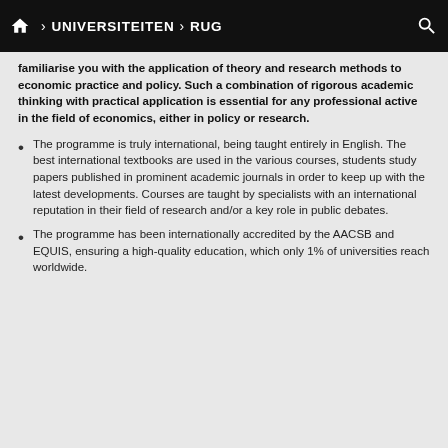🏠 > UNIVERSITEITEN > RUG
familiarise you with the application of theory and research methods to economic practice and policy. Such a combination of rigorous academic thinking with practical application is essential for any professional active in the field of economics, either in policy or research.
The programme is truly international, being taught entirely in English. The best international textbooks are used in the various courses, students study papers published in prominent academic journals in order to keep up with the latest developments. Courses are taught by specialists with an international reputation in their field of research and/or a key role in public debates.
The programme has been internationally accredited by the AACSB and EQUIS, ensuring a high-quality education, which only 1% of universities reach worldwide.